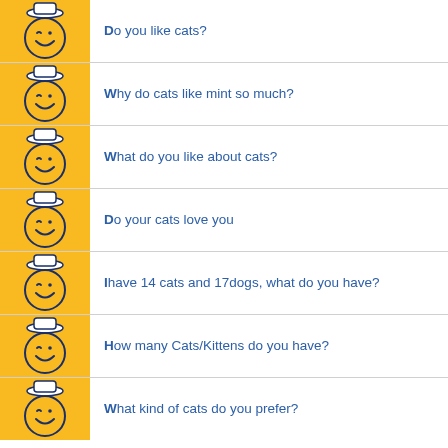Do you like cats?
Why do cats like mint so much?
What do you like about cats?
Do your cats love you
I have 14 cats and 17dogs, what do you have?
How many Cats/Kittens do you have?
What kind of cats do you prefer?